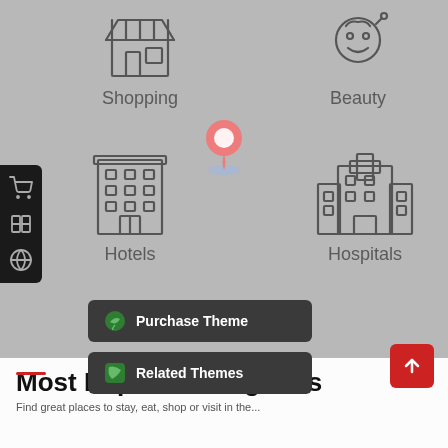[Figure (illustration): Shopping category icon (storefront outline) with label 'Shopping']
[Figure (illustration): Beauty category icon (face outline) with label 'Beauty']
[Figure (illustration): Hotels category icon (building outline) with label 'Hotels']
[Figure (illustration): Hospitals category icon (hospital building with cross) with label 'Hospitals']
[Figure (illustration): Location pin / map marker icon (pink/red pin with glow ring)]
[Figure (illustration): Left sidebar with cart, book, and globe icons on dark background]
[Figure (illustration): Purchase Theme button with green leaf icon]
[Figure (illustration): Related Themes button with green puzzle icon]
[Figure (illustration): Scroll to top red button with up arrow]
Most Popular Categories
Find great places to stay, eat, shop or visit in the...